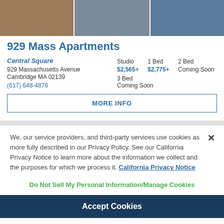[Figure (photo): Exterior photos of 929 Mass Apartments building in three segments]
929 Mass Apartments
Central Square
929 Massachusetts Avenue
Cambridge MA 02139
(617) 648-4876
Studio $2,565+   1 Bed $2,775+   2 Bed Coming Soon   3 Bed Coming Soon
MORE INFO
We, our service providers, and third-party services use cookies as more fully described in our Privacy Policy. See our California Privacy Notice to learn more about the information we collect and the purposes for which we process it. California Privacy Notice
Do Not Sell My Personal Information/Manage Cookies
Accept Cookies